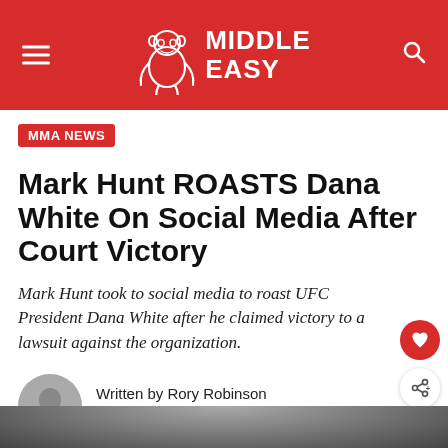Middle Easy
MMA NEWS
Mark Hunt ROASTS Dana White On Social Media After Court Victory
Mark Hunt took to social media to roast UFC President Dana White after he claimed victory to a lawsuit against the organization.
Written by Rory Robinson
Last updated on September 28th, 2021